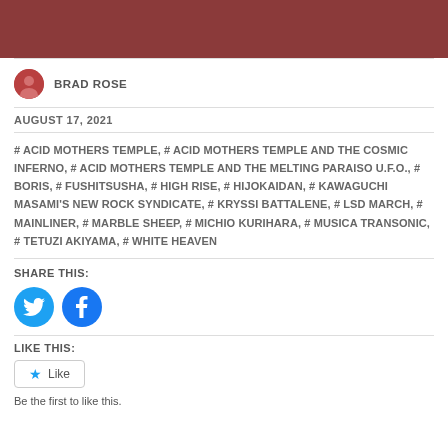[Figure (photo): Dark brownish-red banner image at top of page]
BRAD ROSE
AUGUST 17, 2021
# ACID MOTHERS TEMPLE, # ACID MOTHERS TEMPLE AND THE COSMIC INFERNO, # ACID MOTHERS TEMPLE AND THE MELTING PARAISO U.F.O., # BORIS, # FUSHITSUSHA, # HIGH RISE, # HIJOKAIDAN, # KAWAGUCHI MASAMI'S NEW ROCK SYNDICATE, # KRYSSI BATTALENE, # LSD MARCH, # MAINLINER, # MARBLE SHEEP, # MICHIO KURIHARA, # MUSICA TRANSONIC, # TETUZI AKIYAMA, # WHITE HEAVEN
SHARE THIS:
[Figure (illustration): Twitter and Facebook share buttons (cyan circles with icons)]
LIKE THIS:
Like
Be the first to like this.